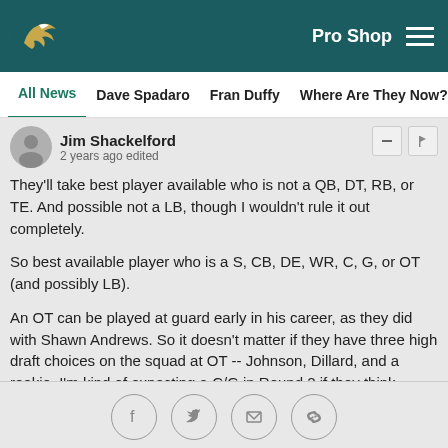Philadelphia Eagles | Pro Shop
All News | Dave Spadaro | Fran Duffy | Where Are They Now? | Pu
Jim Shackelford
2 years ago edited
They'll take best player available who is not a QB, DT, RB, or TE. And possible not a LB, though I wouldn't rule it out completely.

So best available player who is a S, CB, DE, WR, C, G, or OT (and possibly LB).

An OT can be played at guard early in his career, as they did with Shawn Andrews. So it doesn't matter if they have three high draft choices on the squad at OT -- Johnson, Dillard, and a rookie. I'm kind of expecting a C/G in Round 2 if they think someone like Ruiz is the next Kelce.
Social share icons: Facebook, Twitter, Email, Link